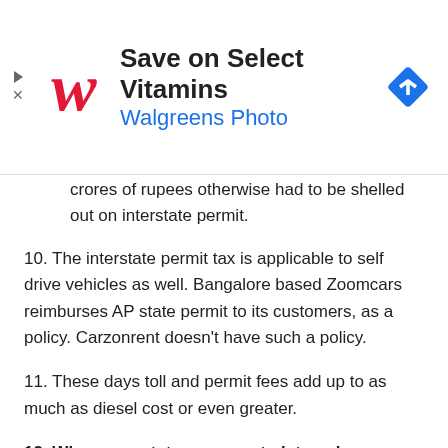[Figure (other): Walgreens advertisement banner: 'Save on Select Vitamins - Walgreens Photo' with Walgreens logo and navigation arrow icon]
crores of rupees otherwise had to be shelled out on interstate permit.
10. The interstate permit tax is applicable to self drive vehicles as well. Bangalore based Zoomcars reimburses AP state permit to its customers, as a policy. Carzonrent doesn't have such a policy.
11. These days toll and permit fees add up to as much as diesel cost or even greater.
12. When new states are created, travelers burden doubles. Now that Telangana is being created, will AP reduce its permit fee by Half since half of its land is gone? Will Telangana stop charging those who've already paid AP entry permit? For no apparent